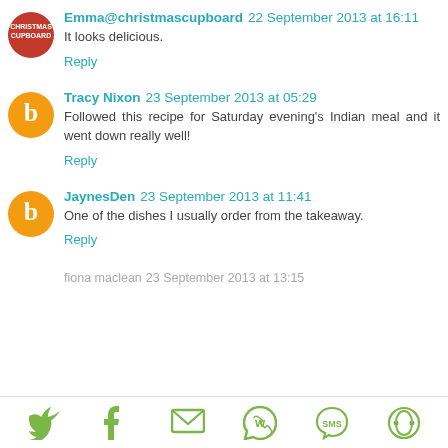Emma@christmascupboard 22 September 2013 at 16:11
It looks delicious.
Reply
Tracy Nixon 23 September 2013 at 05:29
Followed this recipe for Saturday evening's Indian meal and it went down really well!
Reply
JaynesDen 23 September 2013 at 11:41
One of the dishes I usually order from the takeaway.
Reply
fiona maclean  23 September 2013 at 13:15
[Figure (other): Social sharing bar with icons for Twitter, Facebook, Email, WhatsApp, SMS, and another service]